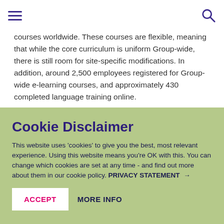Navigation header with hamburger menu and search icon
courses worldwide. These courses are flexible, meaning that while the core curriculum is uniform Group-wide, there is still room for site-specific modifications. In addition, around 2,500 employees registered for Group-wide e-learning courses, and approximately 430 completed language training online.
Performance-based pay
Cookie Disclaimer
This website uses 'cookies' to give you the best, most relevant experience. Using this website means you're OK with this. You can change which cookies are set at any time - and find out more about them in our cookie policy. PRIVACY STATEMENT →
ACCEPT   MORE INFO